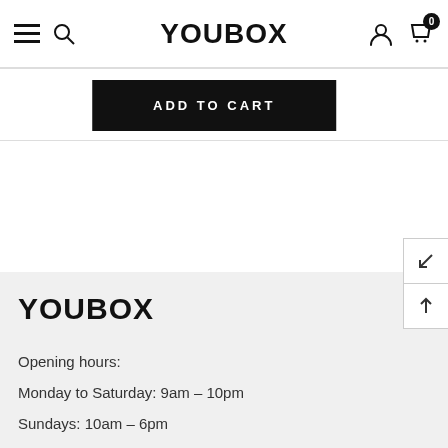YOUBOX
ADD TO CART
[Figure (logo): YOUBOX logo in footer area]
Opening hours:
Monday to Saturday: 9am - 10pm
Sundays: 10am - 6pm
Call us: +86 755 82725757